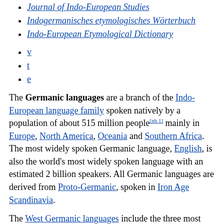Journal of Indo-European Studies
Indogermanisches etymologisches Wörterbuch
Indo-European Etymological Dictionary
v
t
e
The Germanic languages are a branch of the Indo-European language family spoken natively by a population of about 515 million people[nb 1] mainly in Europe, North America, Oceania and Southern Africa. The most widely spoken Germanic language, English, is also the world's most widely spoken language with an estimated 2 billion speakers. All Germanic languages are derived from Proto-Germanic, spoken in Iron Age Scandinavia.
The West Germanic languages include the three most widely spoken Germanic languages: English with around 360–400 million native speakers;[2][nb 2] German, with over 100 million native speakers;[3] and Dutch, with 24 million native speakers. Other West Germanic languages include Afrikaans, an offshoot of Dutch, with over 7.1 million native speakers;[4] Low German, considered a separate collection of unstandardized dialects, with roughly 4.35–